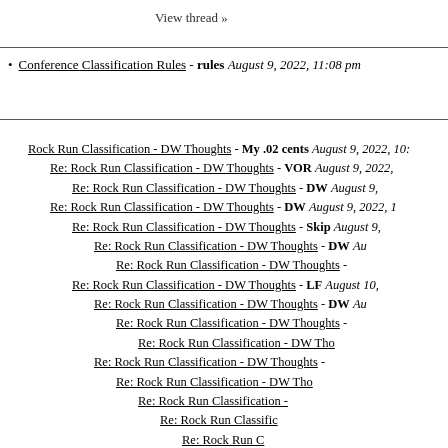View thread »
Conference Classification Rules - rules August 9, 2022, 11:08 pm
Rock Run Classification - DW Thoughts - My .02 cents August 9, 2022, 10:...
Re: Rock Run Classification - DW Thoughts - VOR August 9, 2022, ...
Re: Rock Run Classification - DW Thoughts - DW August 9, ...
Re: Rock Run Classification - DW Thoughts - DW August 9, 2022, 1...
Re: Rock Run Classification - DW Thoughts - Skip August 9, ...
Re: Rock Run Classification - DW Thoughts - DW Au...
Re: Rock Run Classification - DW Thoughts - ...
Re: Rock Run Classification - DW Thoughts - LF August 10, ...
Re: Rock Run Classification - DW Thoughts - DW Au...
Re: Rock Run Classification - DW Thoughts - ...
Re: Rock Run Classification - DW Tho...
Re: Rock Run Classification - DW Thoughts - ...
Re: Rock Run Classification - DW Tho...
Re: Rock Run Classification - ...
Re: Rock Run Classific...
Re: Rock Run C...
Re: Roc...
Re: Roc...
■
Re: Roc...